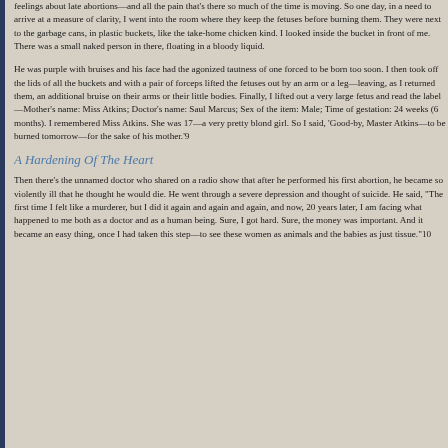feelings about late abortions—and all the pain that's there so much of the time is moving. So one day, in a need to arrive at a measure of clarity, I went into the room where they keep the fetuses before burning them. They were next to the garbage cans, in plastic buckets, like the take-home chicken kind. I looked inside the bucket in front of me. There was a small naked person in there, floating in a bloody liquid.
He was purple with bruises and his face had the agonized tautness of one forced to be born too soon. I then took off the lids of all the buckets and with a pair of forceps lifted the fetuses out by an arm or a leg—leaving, as I returned them, an additional bruise on their arms or their little bodies. Finally, I lifted out a very large fetus and read the label—Mother's name: Miss Atkins; Doctor's name: Saul Marcus; Sex of the item: Male; Time of gestation: 24 weeks (6 months). I remembered Miss Atkins. She was 17—a very pretty blond girl. So I said, 'Good-by, Master Atkins—to be burned tomorrow—for the sake of his mother.'9
A Hardening Of The Heart
Then there's the unnamed doctor who shared on a radio show that after he performed his first abortion, he became so violently ill that he thought he would die. He went through a severe depression and thought of suicide. He said, "The first time I felt like a murderer, but I did it again and again and again, and now, 20 years later, I am facing what happened to me both as a doctor and as a human being. Sure, I got hard. Sure, the money was important. And it became an easy thing, once I had taken this step—to see these women as animals and the babies as just tissue."10